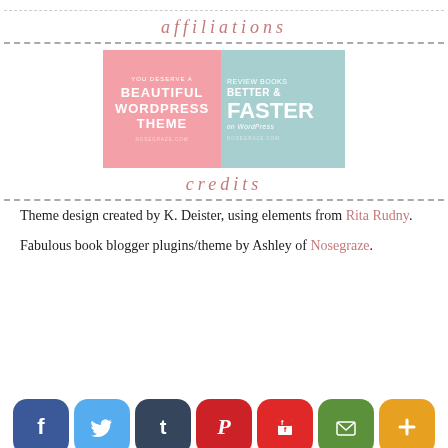affiliations
[Figure (illustration): Nosegraze WordPress theme promotional banner. Left half: pink background with white text 'YOU DESERVE A BEAUTIFUL WORDPRESS THEME' and URL nosegraze.com. Right half: light teal background with white text 'REVIEW BOOKS BETTER & FASTER on WordPress' and URL nosegraze.com.]
credits
Theme design created by K. Deister, using elements from Rita Rudny.
Fabulous book blogger plugins/theme by Ashley of Nosegraze.
[Figure (infographic): Social media sharing icon bar: Facebook (blue), Twitter (light blue), Tumblr (dark slate), Pinterest (red), Flipboard (red), Email (green), Plus/More (orange)]